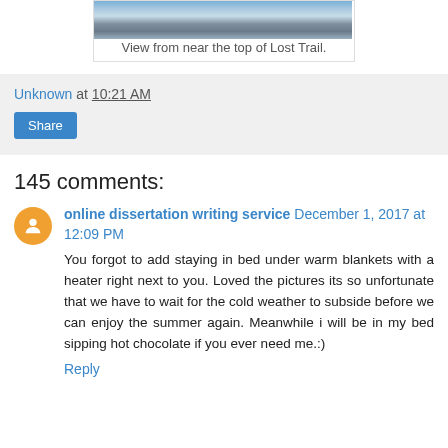[Figure (photo): Snowy winter landscape view from near the top of Lost Trail]
View from near the top of Lost Trail.
Unknown at 10:21 AM
Share
145 comments:
online dissertation writing service December 1, 2017 at 12:09 PM
You forgot to add staying in bed under warm blankets with a heater right next to you. Loved the pictures its so unfortunate that we have to wait for the cold weather to subside before we can enjoy the summer again. Meanwhile i will be in my bed sipping hot chocolate if you ever need me.:)
Reply